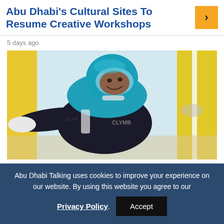Abu Dhabi's Cultural Sites To Resume Creative Workshops
5 days ago
[Figure (photo): A person in a teal/blue wind-tunnel flight suit and helmet leaning forward in an indoor skydiving wind tunnel, with yellow walls visible in the background. The suit has 'CLYMB' branding.]
Abu Dhabi Talking uses cookies to improve your experience on our website. By using this website you agree to our Privacy Policy. Accept